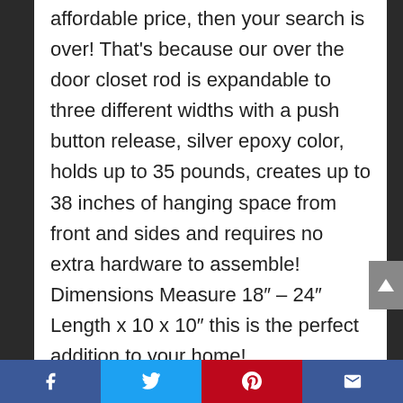affordable price, then your search is over! That's because our over the door closet rod is expandable to three different widths with a push button release, silver epoxy color, holds up to 35 pounds, creates up to 38 inches of hanging space from front and sides and requires no extra hardware to assemble! Dimensions Measure 18″ – 24″ Length x 10 x 10″ this is the perfect addition to your home!
OUR TRUSTED BRAND 'LOVE IT OR 100% SATISFACTION GUARANTEE: Check the reviews and you'll see
Social share bar: Facebook, Twitter, Pinterest, Email